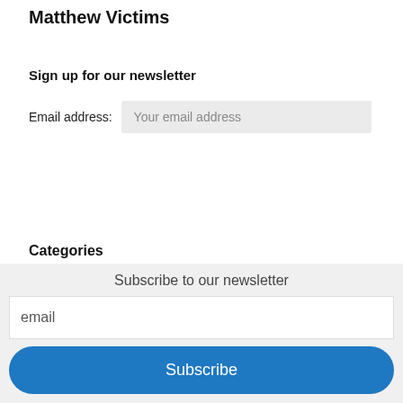Matthew Victims
Sign up for our newsletter
Email address:  Your email address
Sign up
Categories
Better Results
Charity
Subscribe to our newsletter
email
Subscribe